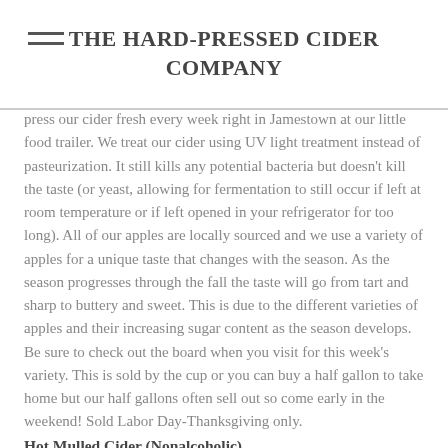THE HARD-PRESSED CIDER COMPANY
press our cider fresh every week right in Jamestown at our little food trailer. We treat our cider using UV light treatment instead of pasteurization. It still kills any potential bacteria but doesn't kill the taste (or yeast, allowing for fermentation to still occur if left at room temperature or if left opened in your refrigerator for too long). All of our apples are locally sourced and we use a variety of apples for a unique taste that changes with the season. As the season progresses through the fall the taste will go from tart and sharp to buttery and sweet. This is due to the different varieties of apples and their increasing sugar content as the season develops. Be sure to check out the board when you visit for this week's variety. This is sold by the cup or you can buy a half gallon to take home but our half gallons often sell out so come early in the weekend! Sold Labor Day-Thanksgiving only.
Hot Mulled Cider (Nonalcoholic)
Our hot apple cider is simply our sweet apple cider